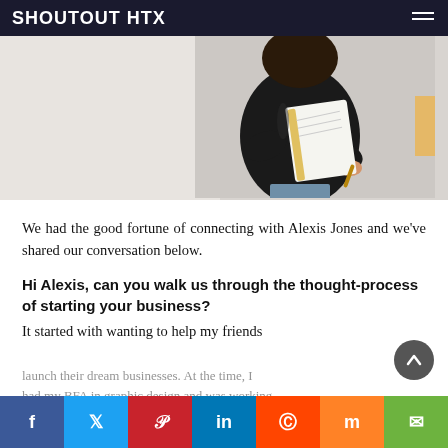shoutout htx
[Figure (photo): Person in black leather jacket holding a white spiral notebook, photographed from mid-torso, against a light grey background. Right half of image.]
We had the good fortune of connecting with Alexis Jones and we've shared our conversation below.
Hi Alexis, can you walk us through the thought-process of starting your business?
It started with wanting to help my friends launch their dream businesses. At the time, I had my BFA in graphic design and was working...